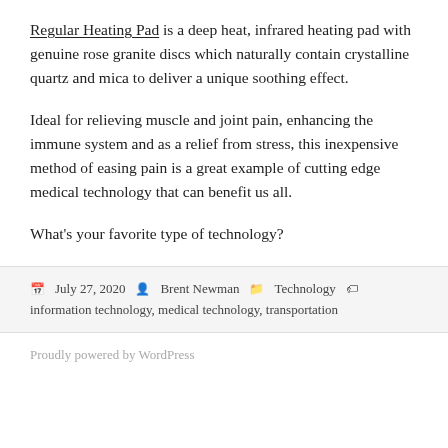Regular Heating Pad is a deep heat, infrared heating pad with genuine rose granite discs which naturally contain crystalline quartz and mica to deliver a unique soothing effect.
Ideal for relieving muscle and joint pain, enhancing the immune system and as a relief from stress, this inexpensive method of easing pain is a great example of cutting edge medical technology that can benefit us all.
What's your favorite type of technology?
July 27, 2020  Brent Newman  Technology  information technology, medical technology, transportation
Proudly powered by WordPress